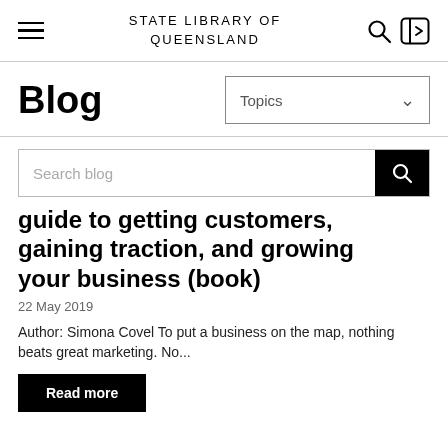STATE LIBRARY OF QUEENSLAND
Blog
Topics
Search blog
guide to getting customers, gaining traction, and growing your business (book)
22 May 2019
Author: Simona Covel To put a business on the map, nothing beats great marketing. No...
Read more